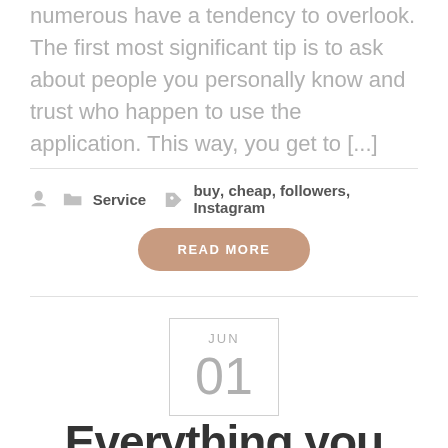numerous have a tendency to overlook. The first most significant tip is to ask about people you personally know and trust who happen to use the application. This way, you get to [...]
Service   buy, cheap, followers, Instagram
READ MORE
[Figure (other): Date box showing JUN 01]
Everything you